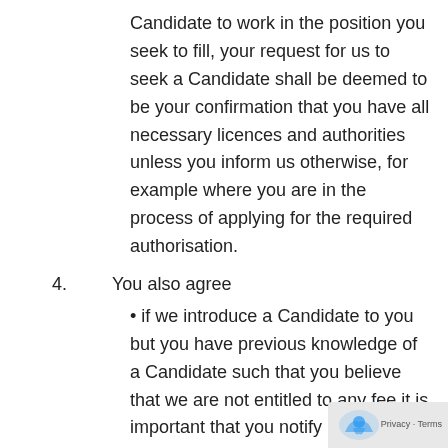Candidate to work in the position you seek to fill, your request for us to seek a Candidate shall be deemed to be your confirmation that you have all necessary licences and authorities unless you inform us otherwise, for example where you are in the process of applying for the required authorisation.
4. You also agree
• if we introduce a Candidate to you but you have previous knowledge of a Candidate such that you believe that we are not entitled to any fee it is important that you notify us in writing within 3 business days of the Introduction together with supporting documentary evidence. You agree that in the absence of your notification to us an Engagement by you shall be deemed to have resulted from and